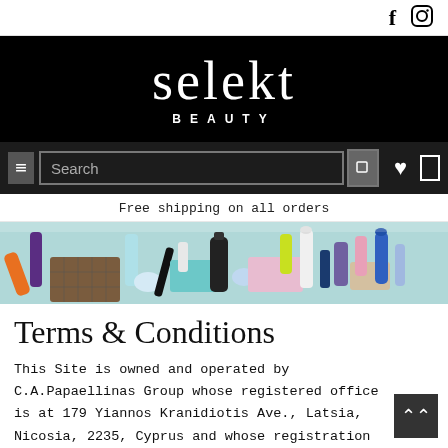Selekt Beauty website header with Facebook and Instagram social icons, logo, search bar, and free shipping notice
[Figure (logo): Selekt Beauty logo: white serif text 'selekt' in large font with 'BEAUTY' in spaced caps beneath, on black background]
[Figure (photo): Flat lay photo of various beauty and cosmetic products including palettes, tubes, bottles, and sprays arranged on a light teal/mint background]
Terms & Conditions
This Site is owned and operated by C.A.Papaellinas Group whose registered office is at 179 Yiannos Kranidiotis Ave., Latsia, Nicosia, 2235, Cyprus and whose registration